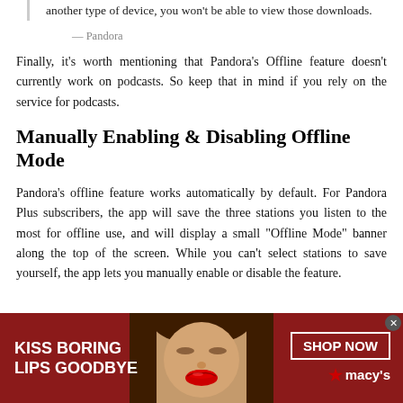another type of device, you won't be able to view those downloads.
— Pandora
Finally, it's worth mentioning that Pandora's Offline feature doesn't currently work on podcasts. So keep that in mind if you rely on the service for podcasts.
Manually Enabling & Disabling Offline Mode
Pandora's offline feature works automatically by default. For Pandora Plus subscribers, the app will save the three stations you listen to the most for offline use, and will display a small "Offline Mode" banner along the top of the screen. While you can't select stations to save yourself, the app lets you manually enable or disable the feature.
[Figure (other): Advertisement banner for Macy's lipstick product. Red background with text 'KISS BORING LIPS GOODBYE' on the left, a photo of a woman's face with red lips in the center, and 'SHOP NOW' button with Macy's star logo on the right.]